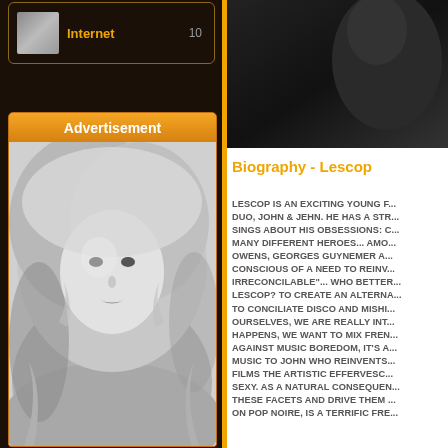[Figure (photo): Small profile photo of a person in the top bar of left sidebar]
Internet   10
Advertisement
[Figure (photo): Black and white photograph of a blonde woman wearing a fur-trimmed hood, looking upward]
[Figure (photo): Dark/black image in the upper right panel]
Biography - Lescop
LESCOP IS AN EXCITING YOUNG F... DUO, JOHN & JEHN. HE HAS A STR... SINGS ABOUT HIS OBSESSIONS: C... MANY DIFFERENT HEROES... AMO... OWENS, GEORGES GUYNEMER A... CONSCIOUS OF A NEED TO REINV... IRRECONCILABLE"... WHO BETTER... LESCOP? TO CREATE AN ALTERNA... TO CONCILIATE DISCO AND MISHI... OURSELVES, WE ARE REALLY INT... HAPPENS, WE WANT TO MIX FREN... AGAINST MUSIC BOREDOM, IT'S A... MUSIC TO JOHN WHO REINVENTS... FILMS THE ARTISTIC EFFERVESC... SEXY. AS A NATURAL CONSEQUEN... THESE FACETS AND DRIVE THEM... ON POP NOIRE, IS A TERRIFIC FRE...